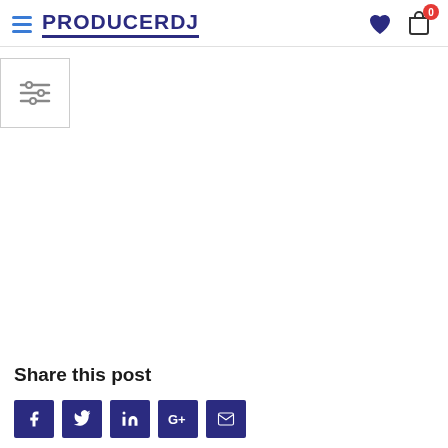PRODUCERDJ
[Figure (screenshot): Filter/sliders icon in a white box with border on the left side]
Share this post
[Figure (infographic): Social share buttons: Facebook, Twitter, LinkedIn, Google+, Email — dark navy/blue square icons]